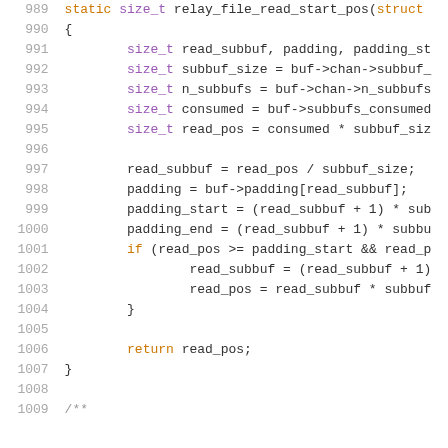[Figure (screenshot): Source code listing showing lines 989-1009 of a C function relay_file_read_start_pos with syntax highlighting. Keywords in orange, type names in purple, regular code in dark gray, line numbers in light gray.]